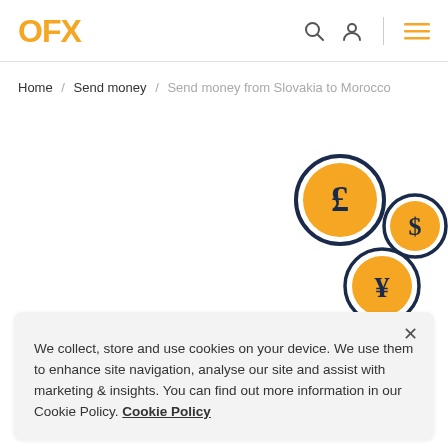OFX
Home / Send money / Send money from Slovakia to Morocco
[Figure (illustration): Three circular currency coins with dark navy border and orange fill: pound sterling (£), dollar ($), and yen (¥) symbols, arranged in a scattered overlapping pattern on the right side of the page.]
We collect, store and use cookies on your device. We use them to enhance site navigation, analyse our site and assist with marketing & insights. You can find out more information in our Cookie Policy. Cookie Policy